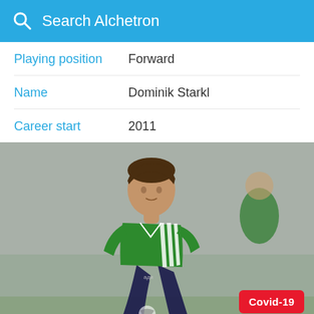Search Alchetron
Playing position  Forward
Name  Dominik Starkl
Career start  2011
[Figure (photo): Young male footballer in a green Adidas jersey with white stripes dribbling a ball, another player in green visible out of focus in the background, grey/overcast outdoor setting]
Covid-19